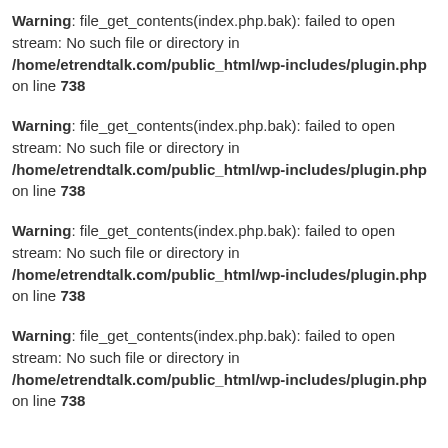Warning: file_get_contents(index.php.bak): failed to open stream: No such file or directory in /home/etrendtalk.com/public_html/wp-includes/plugin.php on line 738
Warning: file_get_contents(index.php.bak): failed to open stream: No such file or directory in /home/etrendtalk.com/public_html/wp-includes/plugin.php on line 738
Warning: file_get_contents(index.php.bak): failed to open stream: No such file or directory in /home/etrendtalk.com/public_html/wp-includes/plugin.php on line 738
Warning: file_get_contents(index.php.bak): failed to open stream: No such file or directory in /home/etrendtalk.com/public_html/wp-includes/plugin.php on line 738